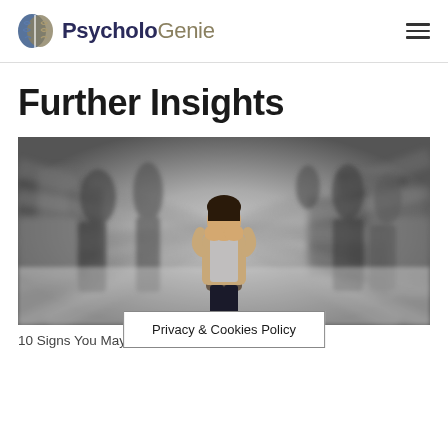PsycholoGenie
Further Insights
[Figure (photo): A woman standing in a crowded blurred street, covering her mouth with both hands, looking distressed. Motion blur effect on surrounding people.]
10 Signs You May Be Stressed-Out
Privacy & Cookies Policy